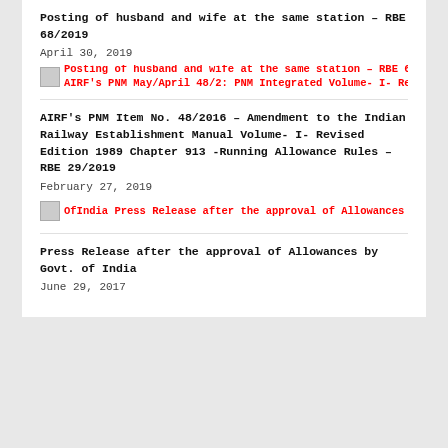Posting of husband and wife at the same station – RBE 68/2019
April 30, 2019
[Figure (other): Link icon with overlapping red link text for RBE 68/2019 entry]
AIRF's PNM Item No. 48/2016 – Amendment to the Indian Railway Establishment Manual Volume- I- Revised Edition 1989 Chapter 913 -Running Allowance Rules – RBE 29/2019
February 27, 2019
[Figure (other): Link icon with overlapping red link text: Press Release after the approval of Allowances by Govt.]
Press Release after the approval of Allowances by Govt. of India
June 29, 2017